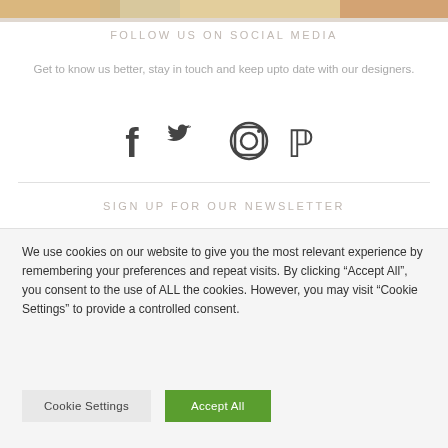[Figure (photo): Partial top image showing food items (bread/pastry) with orange/warm colors, cropped at top of page]
FOLLOW US ON SOCIAL MEDIA
Get to know us better, stay in touch and keep upto date with our designers.
[Figure (infographic): Social media icons: Facebook, Twitter, Instagram, Pinterest]
SIGN UP FOR OUR NEWSLETTER
We use cookies on our website to give you the most relevant experience by remembering your preferences and repeat visits. By clicking “Accept All”, you consent to the use of ALL the cookies. However, you may visit "Cookie Settings" to provide a controlled consent.
Cookie Settings   Accept All